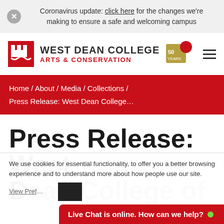Coronavirus update: click here for the changes we're making to ensure a safe and welcoming campus
[Figure (logo): West Dean College Arts & Conservation logo with castle icon and 50 Years badge]
Home / About / Media / Collections / Press Release: West Dean College…
Press Release: West
We use cookies for essential functionality, to offer you a better browsing experience and to understand more about how people use our site.
View Preferences
Live Chat is online. How can we help?